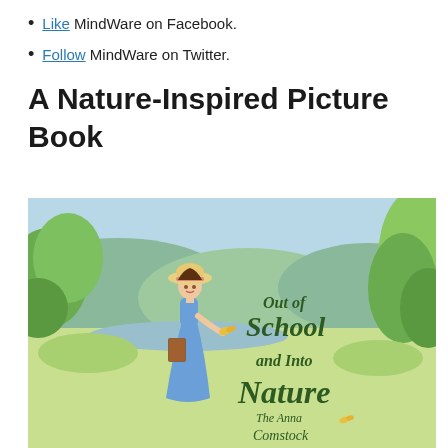Like MindWare on Facebook.
Follow MindWare on Twitter.
A Nature-Inspired Picture Book
[Figure (illustration): Book cover illustration for 'Out of School and Into Nature: The Anna Comstock Story' showing a young girl in a blue dress and wide-brimmed hat holding a book and a butterfly, standing in a green landscape with trees and meadows.]